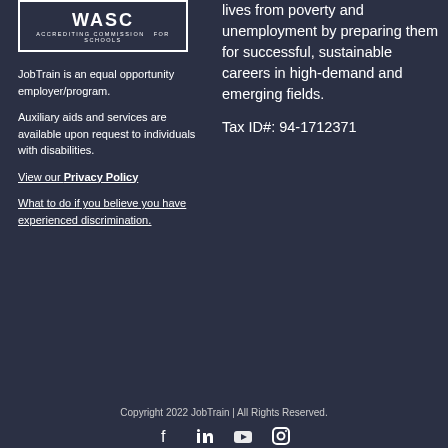[Figure (logo): WASC Accrediting Commission for Schools logo in white on dark background with border]
JobTrain is an equal opportunity employer/program.
Auxiliary aids and services are available upon request to individuals with disabilities.
View our Privacy Policy
What to do if you believe you have experienced discrimination.
lives from poverty and unemployment by preparing them for successful, sustainable careers in high-demand and emerging fields.
Tax ID#: 94-1712371
Copyright 2022 JobTrain | All Rights Reserved.
[Figure (infographic): Social media icons: Facebook, LinkedIn, YouTube, Instagram]